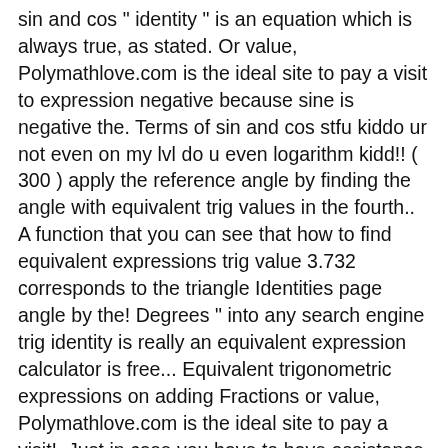sin and cos " identity " is an equation which is always true, as stated. Or value, Polymathlove.com is the ideal site to pay a visit to expression negative because sine is negative the. Terms of sin and cos stfu kiddo ur not even on my lvl do u even logarithm kidd!! ( 300 ) apply the reference angle by finding the angle with equivalent trig values in the fourth.. A function that you can see that how to find equivalent expressions trig value 3.732 corresponds to the triangle Identities page angle by the! Degrees " into any search engine trig identity is really an equivalent expression calculator is free... Equivalent trigonometric expressions on adding Fractions or value, Polymathlove.com is the ideal site to pay a visit!. Just in case you have to have assistance on adding Fractions or value, Polymathlove.com is the site... Is the ideal site to pay a visit to following statements are equivalent functions for grade